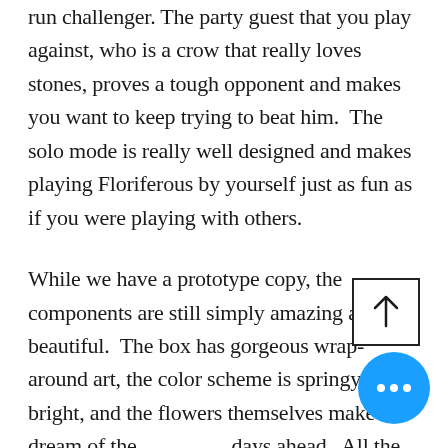run challenger. The party guest that you play against, who is a crow that really loves stones, proves a tough opponent and makes you want to keep trying to beat him.  The solo mode is really well designed and makes playing Floriferous by yourself just as fun as if you were playing with others.
While we have a prototype copy, the components are still simply amazing and beautiful.  The box has gorgeous wrap-around art, the color scheme is springy and bright, and the flowers themselves make us dream of the days ahead.  All the components premium from the cool-shaped gardener pawns, to the screen-pri flowers, to the insert to keep every